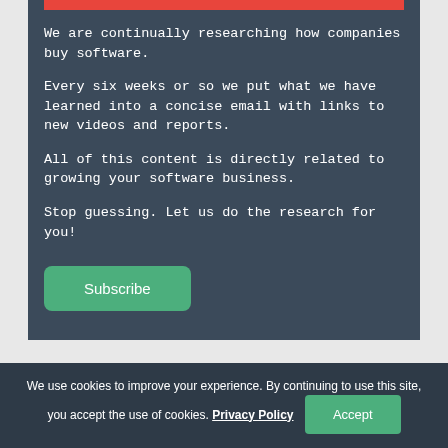We are continually researching how companies buy software.
Every six weeks or so we put what we have learned into a concise email with links to new videos and reports.
All of this content is directly related to growing your software business.
Stop guessing. Let us do the research for you!
Subscribe
We use cookies to improve your experience. By continuing to use this site, you accept the use of cookies. Privacy Policy Accept